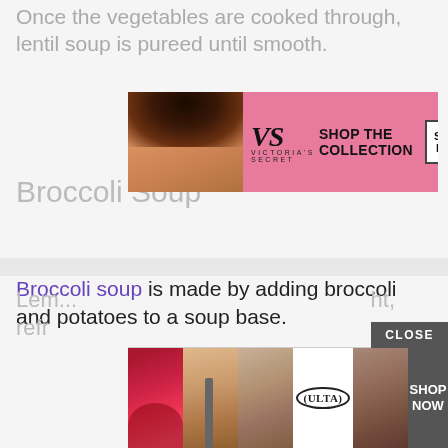Once the vegetables are cooked through, lentil soup is pureed until smooth.
[Figure (photo): Victoria's Secret advertisement banner with model, VS logo, 'SHOP THE COLLECTION' text, and 'SHOP NOW' button]
Broccoli Soup
Broccoli soup is made by adding broccoli and potatoes to a soup base.
Once the soup has cooked the vegetables through, blend the soup smooth.
Cream is added to the soup to create a creamy broccoli soup that is very filling.
Lem... ht, refr...
[Figure (photo): Ulta Beauty advertisement banner with makeup/beauty images and 'SHOP NOW' button, with 'CLOSE' button above]